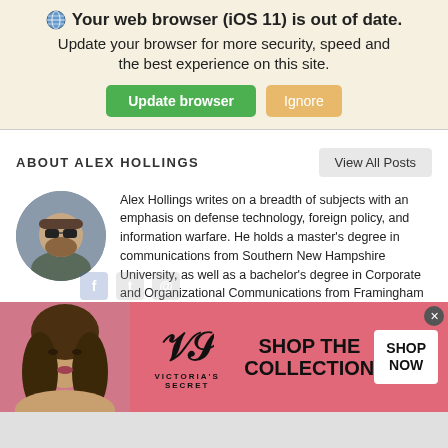🌐 Your web browser (iOS 11) is out of date. Update your browser for more security, speed and the best experience on this site. [Update browser] [Ignore]
ABOUT ALEX HOLLINGS
View All Posts
[Figure (photo): Circular headshot photo of Alex Hollings, a bearded man wearing sunglasses]
Alex Hollings writes on a breadth of subjects with an emphasis on defense technology, foreign policy, and information warfare. He holds a master's degree in communications from Southern New Hampshire University, as well as a bachelor's degree in Corporate and Organizational Communications from Framingham State University.
[Figure (photo): Victoria's Secret advertisement banner showing a woman with curly hair on left, VS logo with 'VICTORIA'S SECRET', 'SHOP THE COLLECTION' text, and 'SHOP NOW' button]